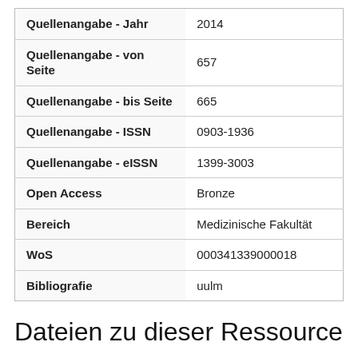| Field | Value |
| --- | --- |
| Quellenangabe - Jahr | 2014 |
| Quellenangabe - von Seite | 657 |
| Quellenangabe - bis Seite | 665 |
| Quellenangabe - ISSN | 0903-1936 |
| Quellenangabe - eISSN | 1399-3003 |
| Open Access | Bronze |
| Bereich | Medizinische Fakultät |
| WoS | 000341339000018 |
| Bibliografie | uulm |
Dateien zu dieser Ressource